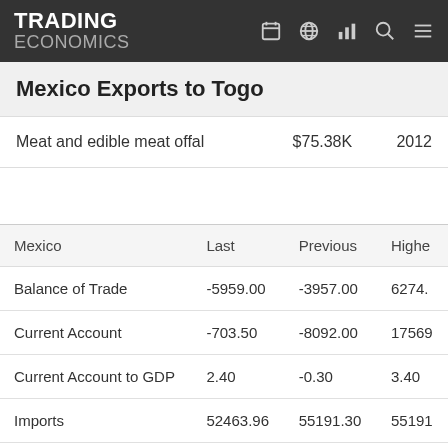TRADING ECONOMICS
Mexico Exports to Togo
|  |  |  |
| --- | --- | --- |
| Meat and edible meat offal | $75.38K | 2012 |
| Mexico | Last | Previous | Highe |
| --- | --- | --- | --- |
| Balance of Trade | -5959.00 | -3957.00 | 6274. |
| Current Account | -703.50 | -8092.00 | 17569 |
| Current Account to GDP | 2.40 | -0.30 | 3.40 |
| Imports | 52463.96 | 55191.30 | 55191 |